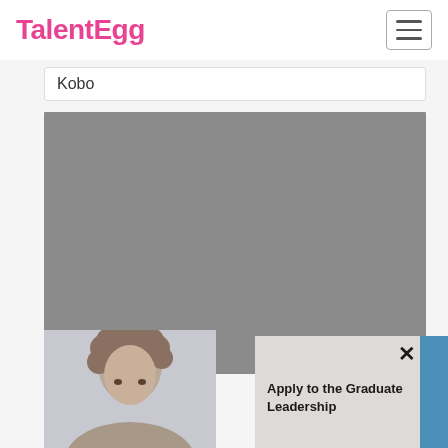[Figure (logo): TalentEgg logo in pink/magenta color]
Kobo
[Figure (photo): Large gray placeholder image area]
[Figure (photo): Person with curly hair, partial view at bottom of page]
Apply to the Graduate Leadership